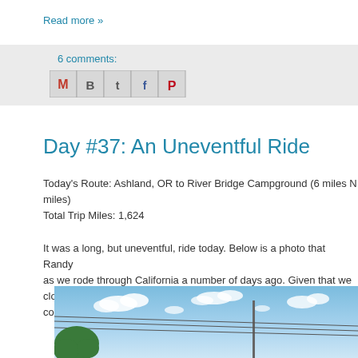Read more »
6 comments:
[Figure (screenshot): Social sharing icons: Gmail, Blogger, Twitter, Facebook, Pinterest]
Day #37: An Uneventful Ride
Today's Route: Ashland, OR to River Bridge Campground (6 miles N miles)
Total Trip Miles: 1,624

It was a long, but uneventful, ride today. Below is a photo that Randy as we rode through California a number of days ago. Given that we clothes day-in and day-out, this is also what Alex and I looked like ri course, you'll need to swap out the California scenery with Oregon s
[Figure (photo): Outdoor photo showing blue sky with white clouds, utility poles and wires, and a green tree in the lower left corner.]